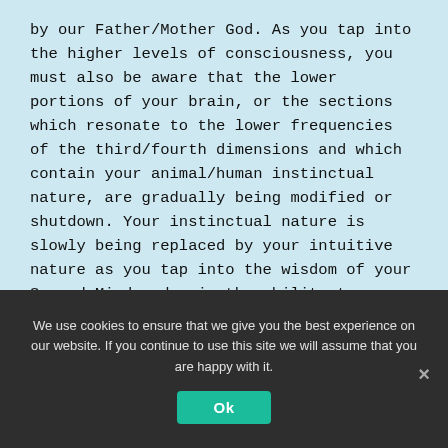by our Father/Mother God. As you tap into the higher levels of consciousness, you must also be aware that the lower portions of your brain, or the sections which resonate to the lower frequencies of the third/fourth dimensions and which contain your animal/human instinctual nature, are gradually being modified or shutdown. Your instinctual nature is slowly being replaced by your intuitive nature as you tap into the wisdom of your Sacred Mind and gain the ability to interact with your Higher Self, your
We use cookies to ensure that we give you the best experience on our website. If you continue to use this site we will assume that you are happy with it.